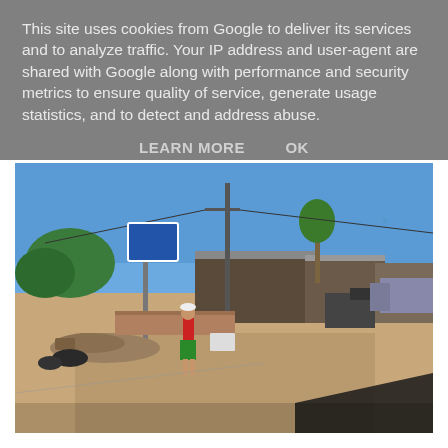This site uses cookies from Google to deliver its services and to analyze traffic. Your IP address and user-agent are shared with Google along with performance and security metrics to ensure quality of service, generate usage statistics, and to detect and address abuse.
LEARN MORE    OK
[Figure (photo): Street scene photograph showing a dusty intersection with a person in a red top and green skirt, rubble and construction debris on the left, road signs, utility poles, and low buildings in the background under a clear blue sky.]